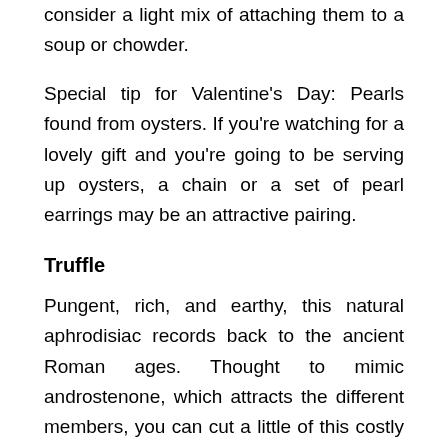consider a light mix of attaching them to a soup or chowder.
Special tip for Valentine's Day: Pearls found from oysters. If you're watching for a lovely gift and you're going to be serving up oysters, a chain or a set of pearl earrings may be an attractive pairing.
Truffle
Pungent, rich, and earthy, this natural aphrodisiac records back to the ancient Roman ages. Thought to mimic androstenone, which attracts the different members, you can cut a little of this costly truffle atop your dinner for good and sensual food foreplay.
Maca